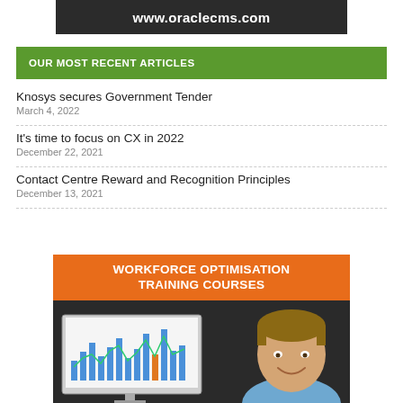[Figure (logo): Dark banner with www.oraclecms.com in white bold text]
OUR MOST RECENT ARTICLES
Knosys secures Government Tender
March 4, 2022
It's time to focus on CX in 2022
December 22, 2021
Contact Centre Reward and Recognition Principles
December 13, 2021
[Figure (illustration): Promotional banner for Workforce Optimisation Training Courses with orange header text, a man at a computer showing charts, and another person smiling]